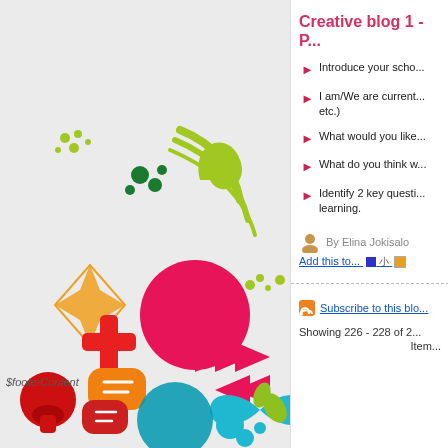[Figure (illustration): Colorful social media / digital icons illustration on gray background — circles, arrows, chat bubbles, plus signs, location markers, infinity symbols in green, pink, orange, teal, red, yellow, blue colors]
Creative blog 1 - P...
Introduce your scho...
I am/We are current... etc.)
What would you like...
What do you think w...
Identify 2 key questi... learning.
By Elina Jokisalo
Add this to...
Subscribe to this blo...
Showing 226 - 228 of 2...
Item...
$footerContent